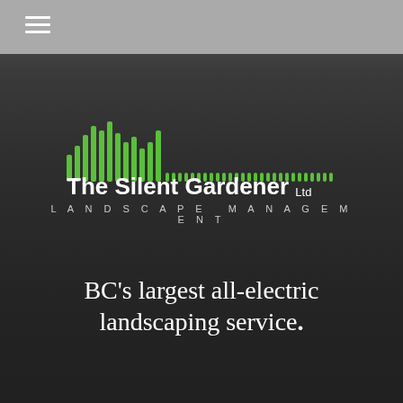[Figure (logo): The Silent Gardener Ltd Landscape Management logo with green soundwave/bar chart graphic above the company name]
BC's largest all-electric landscaping service.